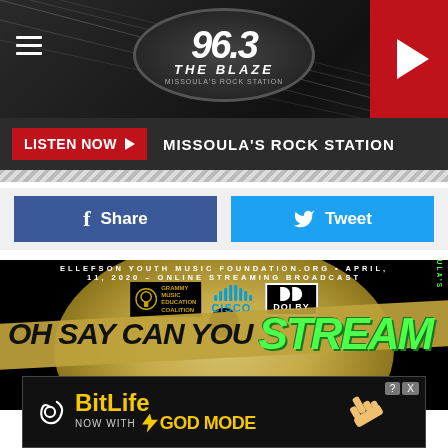[Figure (logo): 96.3 The Blaze – Missoula's Rock Station radio station header with logo, hamburger menu icon, and red play button]
LISTEN NOW ▶   MISSOULA'S ROCK STATION
[Figure (infographic): Facebook Share button (blue) and Twitter Tweet button (light blue) side by side]
[Figure (photo): Oh Say Can You Stream – GRAMMY Music Education Coalition / Cisco / Dolby event poster. April 11, 2020 – Online Streaming Broadcast. David Ellefson. Ellefson Youth Music Foundation.]
[Figure (infographic): BitLife advertisement banner – Now with GOD MODE]